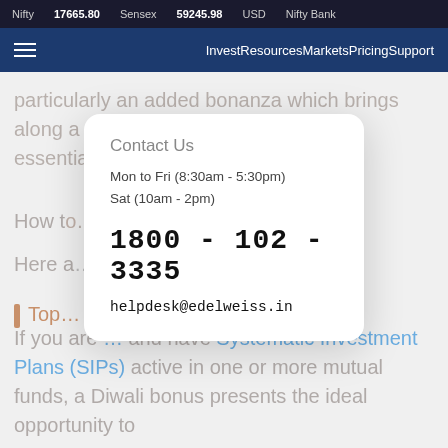Nifty 17665.80  Sensex 59245.98  USD  Nifty Bank
Invest Resources Markets Pricing Support
particularly an added bonanza which brings along a strong urge to splurge on non-essentials.
Contact Us
Mon to Fri (8:30am - 5:30pm)
Sat (10am - 2pm)
1800 - 102 - 3335
helpdesk@edelweiss.in
If you are ... and have Systematic Investment Plans (SIPs) active in one or more mutual funds, a Diwali bonus presents the ideal opportunity to